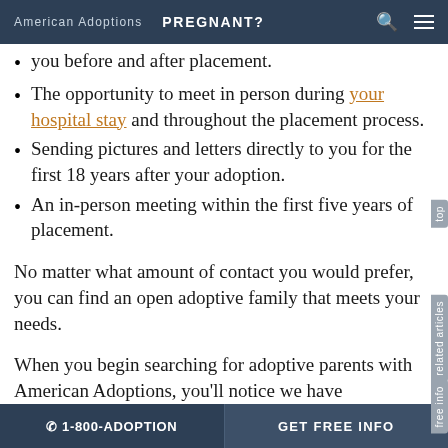American Adoptions   PREGNANT?
you before and after placement.
The opportunity to meet in person during your hospital stay and throughout the placement process.
Sending pictures and letters directly to you for the first 18 years after your adoption.
An in-person meeting within the first five years of placement.
No matter what amount of contact you would prefer, you can find an open adoptive family that meets your needs.
When you begin searching for adoptive parents with American Adoptions, you'll notice we have
📞 1-800-ADOPTION   GET FREE INFO